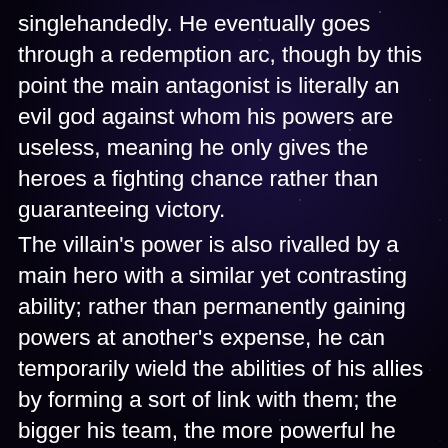singlehandedly. He eventually goes through a redemption arc, though by this point the main antagonist is literally an evil god against whom his powers are useless, meaning he only gives the heroes a fighting chance rather than guaranteeing victory. The villain's power is also rivalled by a main hero with a similar yet contrasting ability; rather than permanently gaining powers at another's expense, he can temporarily wield the abilities of his allies by forming a sort of link with them; the bigger his team, the more powerful he can be. Alone, or without sufficiently willing teammates, he is powerless, and a certain level of physical proximity is required. This hero and the main villain are depicted as the most powerful characters on their respective sides, are